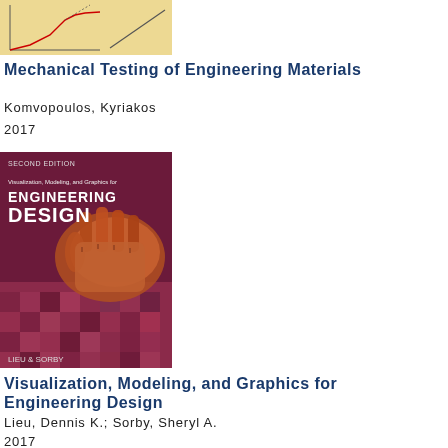[Figure (photo): Book cover thumbnail of Mechanical Testing of Engineering Materials, showing a stress-strain graph on a tan/yellow background]
Mechanical Testing of Engineering Materials
Komvopoulos, Kyriakos
2017
[Figure (photo): Book cover of Visualization, Modeling, and Graphics for Engineering Design, Second Edition by Lieu & Sorby. Dark magenta/maroon cover with a robotic hand image and geometric background patterns.]
Visualization, Modeling, and Graphics for Engineering Design
Lieu, Dennis K.; Sorby, Sheryl A.
2017